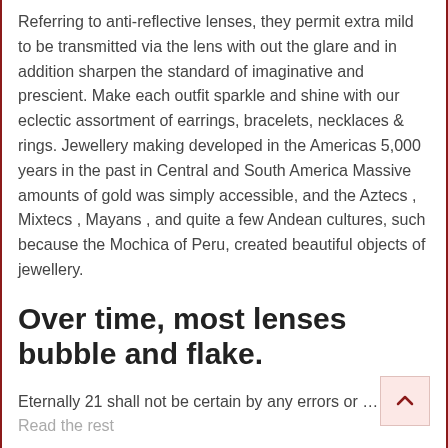Referring to anti-reflective lenses, they permit extra mild to be transmitted via the lens with out the glare and in addition sharpen the standard of imaginative and prescient. Make each outfit sparkle and shine with our eclectic assortment of earrings, bracelets, necklaces & rings. Jewellery making developed in the Americas 5,000 years in the past in Central and South America Massive amounts of gold was simply accessible, and the Aztecs , Mixtecs , Mayans , and quite a few Andean cultures, such because the Mochica of Peru, created beautiful objects of jewellery.
Over time, most lenses bubble and flake.
Eternally 21 shall not be certain by any errors or …
Read the rest